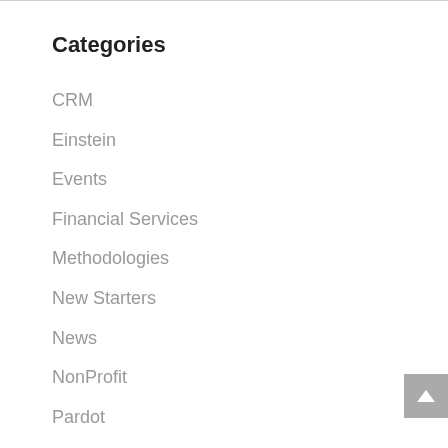Categories
CRM
Einstein
Events
Financial Services
Methodologies
New Starters
News
NonProfit
Pardot
Quip
SaaS